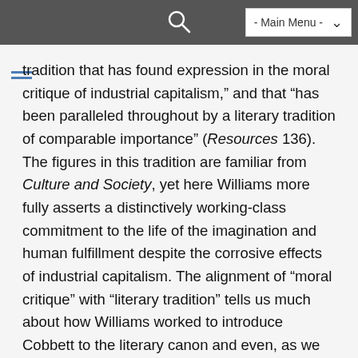- Main Menu -
tradition that has found expression in the moral critique of industrial capitalism,” and that “has been paralleled throughout by a literary tradition of comparable importance” (Resources 136). The figures in this tradition are familiar from Culture and Society, yet here Williams more fully asserts a distinctively working-class commitment to the life of the imagination and human fulfillment despite the corrosive effects of industrial capitalism. The alignment of “moral critique” with “literary tradition” tells us much about how Williams worked to introduce Cobbett to the literary canon and even, as we will see, to Romanticism’s visionary company. Cobbett’s profile rises further as Williams looks past the Labour Party and past his own present crisis to identify forces that have shaped radical social change. While he acknowledges the contribution of religious